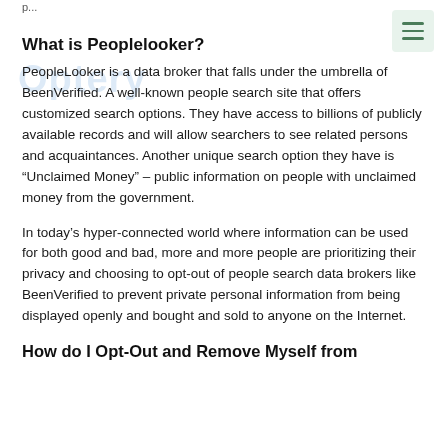p...
What is Peoplelooker?
PeopleLooker is a data broker that falls under the umbrella of BeenVerified. A well-known people search site that offers customized search options. They have access to billions of publicly available records and will allow searchers to see related persons and acquaintances. Another unique search option they have is “Unclaimed Money” – public information on people with unclaimed money from the government.
In today’s hyper-connected world where information can be used for both good and bad, more and more people are prioritizing their privacy and choosing to opt-out of people search data brokers like BeenVerified to prevent private personal information from being displayed openly and bought and sold to anyone on the Internet.
How do I Opt-Out and Remove Myself from